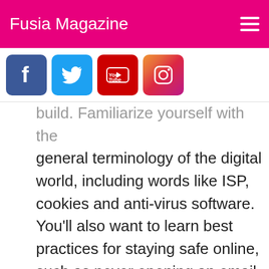Fusia Magazine
[Figure (screenshot): Social media icons: Facebook (blue), Twitter (light blue), YouTube (red), Instagram (gradient)]
build. Familiarize yourself with the general terminology of the digital world, including words like ISP, cookies and anti-virus software. You’ll also want to learn best practices for staying safe online, such as never opening an email from an unknown sender and looking for secure “https” sites when entering personal or financial information.